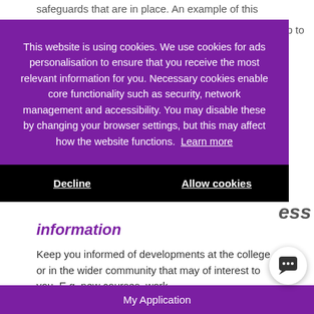safeguards that are in place. An example of this
p to
This website is using cookies. We use cookies for ads personalisation to ensure that you receive the most relevant information for you. Necessary cookies enable core functionality such as security, network management and accessibility. You may disable these by changing your browser settings, but this may affect how the website functions. Learn more
Decline
Allow cookies
ess
d
information
Keep you informed of developments at the college or in the wider community that may of interest to you. E.g. new courses, work
My Application